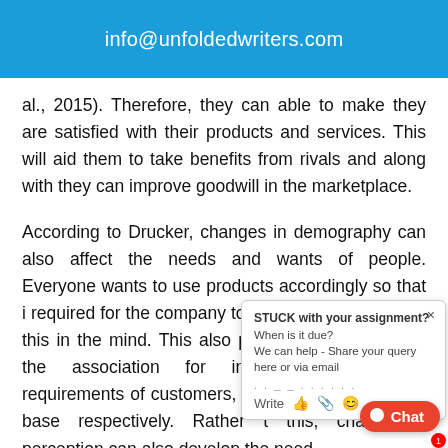info@unfoldedwriters.com
al., 2015). Therefore, they can able to make they are satisfied with their products and services. This will aid them to take benefits from rivals and along with they can improve goodwill in the marketplace.
According to Drucker, changes in demography can also affect the needs and wants of people. Everyone wants to use products accordingly so that it is required for the company to implement innovation keeping this in the mind. This also provides an opportunity for the association for innovation for fulfilling the requirements of customers, they can increase their client base respectively. Rather than this, change in perception can also develop the need